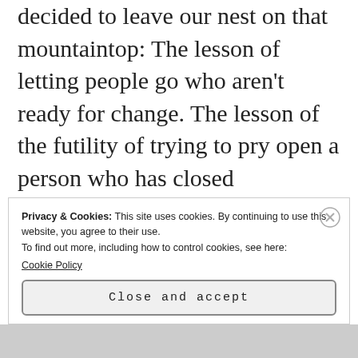decided to leave our nest on that mountaintop: The lesson of letting people go who aren't ready for change. The lesson of the futility of trying to pry open a person who has closed themselves off, like a clam. And finally a lesson that helps you face sadness: the sadness of seeing love wasted, missing from the world, from those who are too
Privacy & Cookies: This site uses cookies. By continuing to use this website, you agree to their use.
To find out more, including how to control cookies, see here:
Cookie Policy
Close and accept